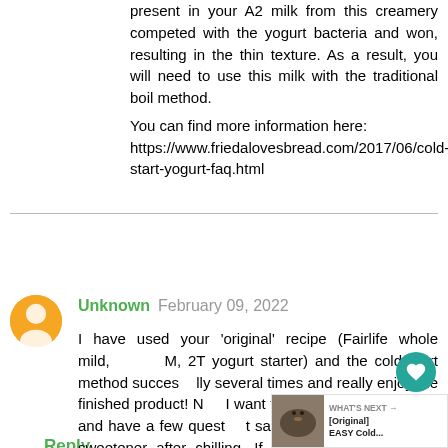present in your A2 milk from this creamery competed with the yogurt bacteria and won, resulting in the thin texture. As a result, you will need to use this milk with the traditional boil method.
You can find more information here: https://www.friedalovesbread.com/2017/06/cold-start-yogurt-faq.html
Reply
Unknown  February 09, 2022
I have used your 'original' recipe (Fairlife whole mild, 2T yogurt starter) and the cold start method successfully several times and really enjoy the finished product! Now I want to try this low carb yogurt and have a few questions. It says to add the vanilla and sweetener after chilling. If I mix that in after it is chilled, won't that break the gel you mentioned and make it thinner? Will it firm back up when put back in the fridge? Also, I see the suggested amount to use for the vanilla but not for the sweetener.